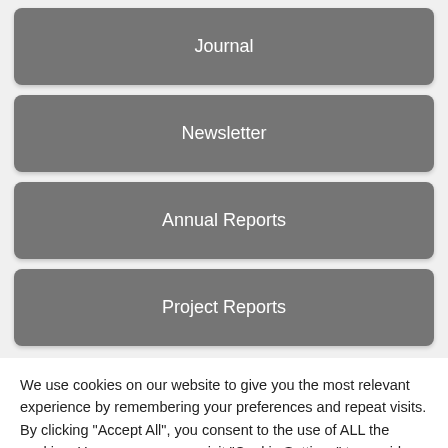Journal
Newsletter
Annual Reports
Project Reports
We use cookies on our website to give you the most relevant experience by remembering your preferences and repeat visits. By clicking "Accept All", you consent to the use of ALL the cookies. However, you may visit "Cookie Settings" to provide a controlled consent.
Cookie Settings
Accept All